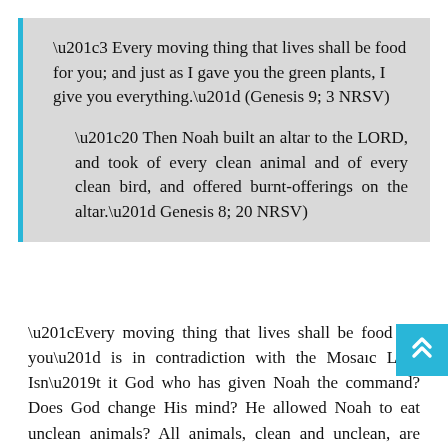‘3 Every moving thing that lives shall be food for you; and just as I gave you the green plants, I give you everything.” (Genesis 9; 3 NRSV)
‘20 Then Noah built an altar to the LORD, and took of every clean animal and of every clean bird, and offered burnt-offerings on the altar.” Genesis 8; 20 NRSV)
“Every moving thing that lives shall be food for you” is in contradiction with the Mosaic Law. Isn’t it God who has given Noah the command? Does God change His mind? He allowed Noah to eat unclean animals? All animals, clean and unclean, are included in the